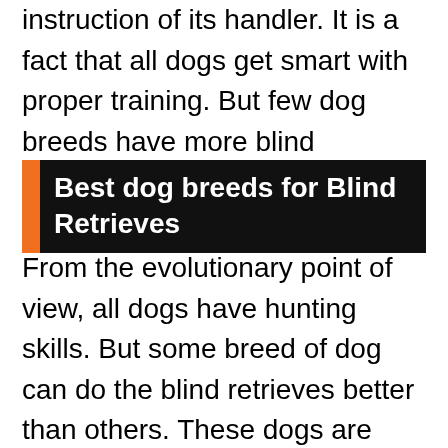instruction of its handler. It is a fact that all dogs get smart with proper training. But few dog breeds have more blind retrieves ability than others.
Best dog breeds for Blind Retrieves
From the evolutionary point of view, all dogs have hunting skills. But some breed of dog can do the blind retrieves better than others. These dogs are born with thick fur and it works as a waterproof layer. The fur also protects them from cold. Most retriever dog